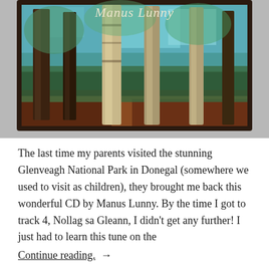[Figure (photo): A photo of a CD album by Manus Lunny, featuring an oil painting of birch trees in a forest with teal, blue, and brown tones. The album has a dark brown border. The artist name 'Manus Lunny' is written in cursive script at the top.]
The last time my parents visited the stunning Glenveagh National Park in Donegal (somewhere we used to visit as children), they brought me back this wonderful CD by Manus Lunny. By the time I got to track 4, Nollag sa Gleann, I didn't get any further! I just had to learn this tune on the
Continue reading. →